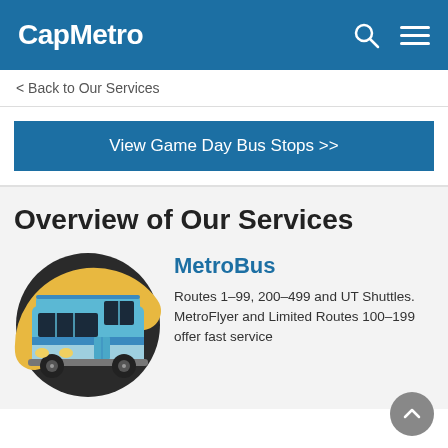CapMetro
< Back to Our Services
View Game Day Bus Stops >>
Overview of Our Services
[Figure (illustration): Illustrated bus icon — a blue city bus on a circular yellow and dark background]
MetroBus
Routes 1–99, 200–499 and UT Shuttles. MetroFlyer and Limited Routes 100–199 offer fast service